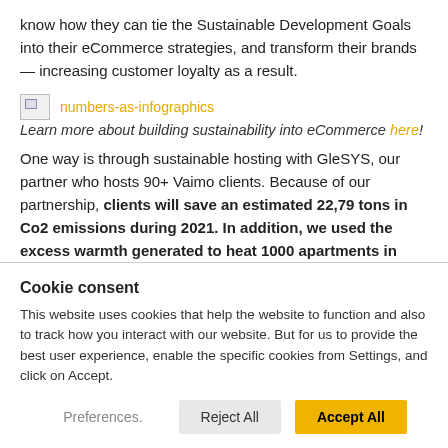know how they can tie the Sustainable Development Goals into their eCommerce strategies, and transform their brands — increasing customer loyalty as a result.
[Figure (other): Broken image placeholder with link text 'numbers-as-infographics' in orange]
Learn more about building sustainability into eCommerce here!
One way is through sustainable hosting with GleSYS, our partner who hosts 90+ Vaimo clients. Because of our partnership, clients will save an estimated 22,79 tons in Co2 emissions during 2021. In addition, we used the excess warmth generated to heat 1000 apartments in Stockholm. With this innovative thinking, we are helping the world's oceans to flourish.
Cookie consent
This website uses cookies that help the website to function and also to track how you interact with our website. But for us to provide the best user experience, enable the specific cookies from Settings, and click on Accept.